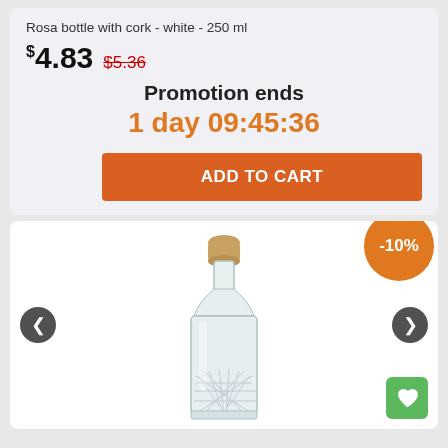Rosa bottle with cork - white - 250 ml
$4.83  $5.36
Promotion ends
1 day 09:45:36
ADD TO CART
[Figure (photo): Clear glass Rosa bottle with cork stopper, 250ml, featuring a decorative cut-glass pattern at the base and a tapered neck. Displayed on white background. Shows -10% discount badge, left/right navigation arrows, and a heart/wishlist button.]